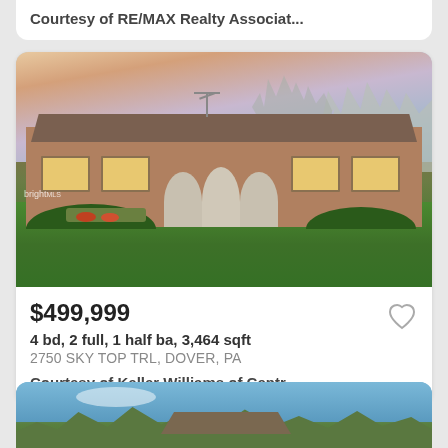Courtesy of RE/MAX Realty Associat...
[Figure (photo): Exterior photo of a single-story brick ranch house with arched porch entry, large green lawn, bare trees in background, taken at dusk/sunset. Bright MLS watermark visible bottom left.]
$499,999
4 bd, 2 full, 1 half ba, 3,464 sqft
2750 SKY TOP TRL, DOVER, PA
Courtesy of Keller Williams of Centr...
[Figure (photo): Partial exterior photo of a house surrounded by green trees under a blue sky with clouds, partially visible at bottom of page.]